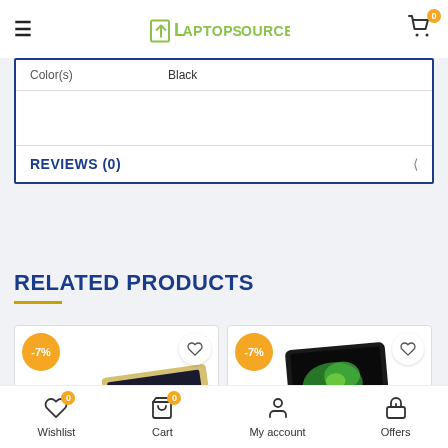Laptop Source
| Color(s) | Black |
| --- | --- |
REVIEWS (0)
RELATED PRODUCTS
[Figure (photo): Product card with -7% badge showing a gold laptop]
[Figure (photo): Product card with -7% badge showing a dark tablet/laptop]
Wishlist 0 | Cart 0 | My account | Offers